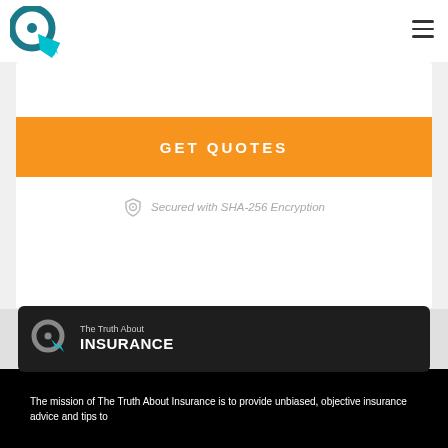[Figure (logo): Circular arrow/cursor logo icon in teal/dark teal]
[Figure (other): Hamburger menu icon (three horizontal lines)]
GET QUOTES
Secured with SHA-256 Encryption
[Figure (logo): The Truth About Insurance logo with circular cursor icon]
The mission of The Truth About Insurance is to provide unbiased, objective insurance advice and tips to